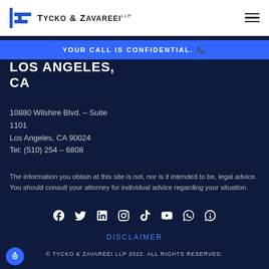Tycko & Zavareei LLP
YOUR CALL IS CONFIDENTIAL.
LOS ANGELES, CA
10880 Wilshire Blvd. – Suite 1101
Los Angeles, CA 90024
Tel: (510) 254 – 6808
The information you obtain at this site is not, nor is it intended to be, legal advice. You should consult your attorney for individual advice regarding your situation.
[Figure (infographic): Social media icons row: Facebook, Twitter, LinkedIn, Instagram, TikTok, YouTube, WhatsApp, Signal]
DISCLAIMER
© TYCKO & ZAVAREEI LLP 2022. ALL RIGHTS RESERVED.